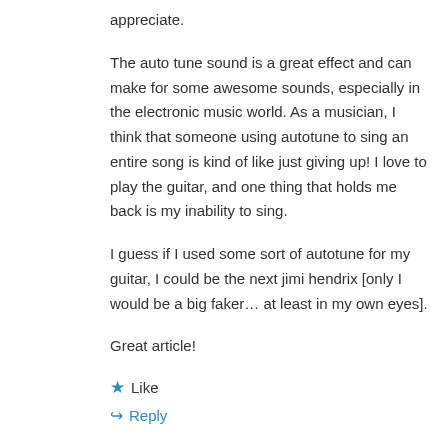appreciate.
The auto tune sound is a great effect and can make for some awesome sounds, especially in the electronic music world. As a musician, I think that someone using autotune to sing an entire song is kind of like just giving up! I love to play the guitar, and one thing that holds me back is my inability to sing.
I guess if I used some sort of autotune for my guitar, I could be the next jimi hendrix [only I would be a big faker… at least in my own eyes].
Great article!
Like
Reply